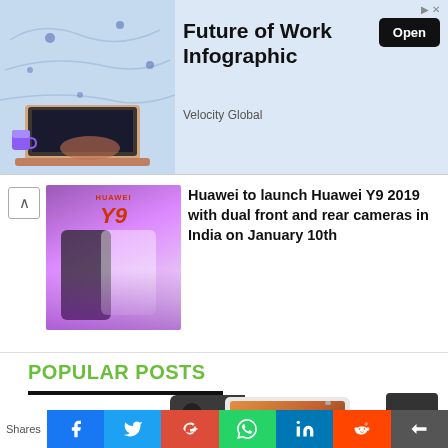[Figure (infographic): Advertisement banner for 'Future of Work Infographic' by Velocity Global, showing laptop with map background and Open button]
[Figure (photo): Huawei Y9 2019 smartphone promotional image with purple gradient background]
Huawei to launch Huawei Y9 2019 with dual front and rear cameras in India on January 10th
POPULAR POSTS
[Figure (photo): Samsung smartphone showing time 12:45 on screen]
Shares